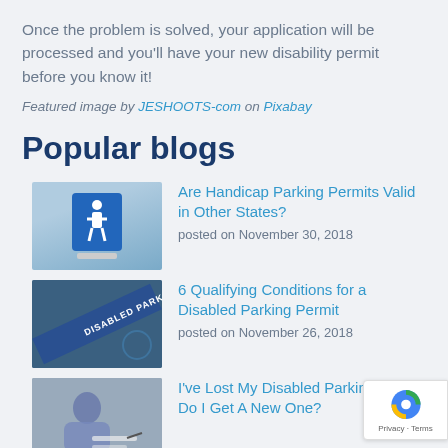Once the problem is solved, your application will be processed and you'll have your new disability permit before you know it!
Featured image by JESHOOTS-com on Pixabay
Popular blogs
[Figure (photo): Blue handicap parking sign with wheelchair symbol]
Are Handicap Parking Permits Valid in Other States?
posted on November 30, 2018
[Figure (photo): Blue disabled parking bay marking on ground]
6 Qualifying Conditions for a Disabled Parking Permit
posted on November 26, 2018
[Figure (photo): Person writing or signing a document]
I've Lost My Disabled Parking How Do I Get A New One?